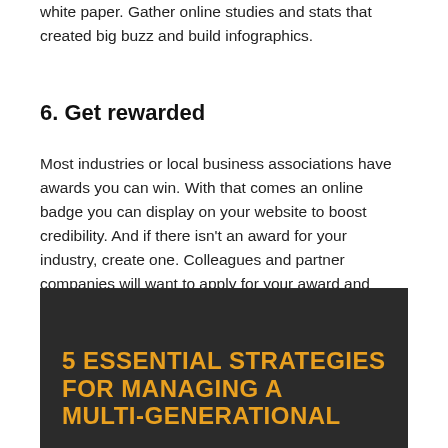white paper. Gather online studies and stats that created big buzz and build infographics.
6. Get rewarded
Most industries or local business associations have awards you can win. With that comes an online badge you can display on your website to boost credibility. And if there isn't an award for your industry, create one. Colleagues and partner companies will want to apply for your award and when they win, they'll help get your name out there.
[Figure (infographic): Dark box with gold bold uppercase text reading '5 ESSENTIAL STRATEGIES FOR MANAGING A MULTI-GENERATIONAL' (cut off at bottom)]